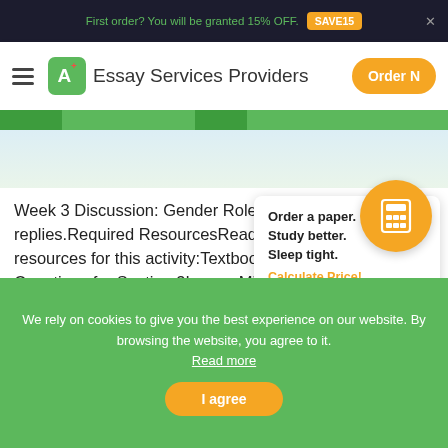First order? You will be granted 15% OFF. SAVE15
A+ Essay Services Providers  Order N
[Figure (screenshot): Green decorative bar across the page with darker green accent sections]
Week 3 Discussion: Gender Roles1111 unread replies.Required ResourcesRead/review the following resources for this activity:Textbook: Section 3; Integrative Questions for Section 3LessonMinimum of 1 scholarly sourceInitial Post InstructionsWhen traveling to countries, it is important to know the male/female roles in each country. Not knowing these roles could cause
Order a paper. Study better. Sleep tight. Calculate Price!
We rely on cookies to give you the best experience on our website. By browsing the website, you agree to it. Read more
I agree